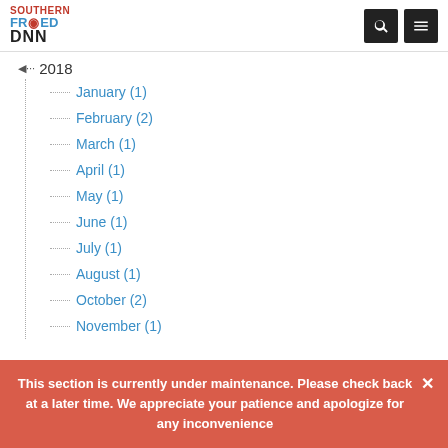Southern Fried DNN [logo with search and menu icons]
2018
January (1)
February (2)
March (1)
April (1)
May (1)
June (1)
July (1)
August (1)
October (2)
November (1)
This section is currently under maintenance. Please check back at a later time. We appreciate your patience and apologize for any inconvenience